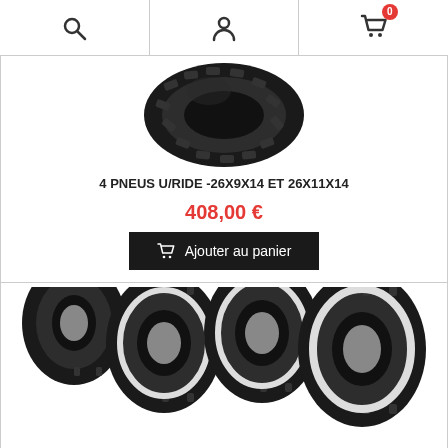Search | Account | Cart (0)
[Figure (photo): Single large ATV/UTV off-road tire with deep tread pattern, black rubber, viewed from front angle]
4 PNEUS U/RIDE -26X9X14 ET 26X11X14
408,00 €
Ajouter au panier
[Figure (photo): Set of four ATV/UTV off-road tires arranged in a row, black rubber with white side walls and deep tread pattern]